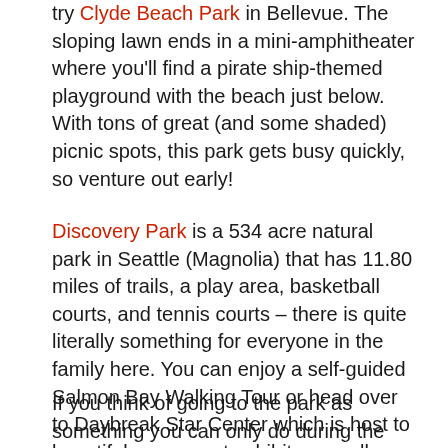try Clyde Beach Park in Bellevue. The sloping lawn ends in a mini-amphitheater where you'll find a pirate ship-themed playground with the beach just below. With tons of great (and some shaded) picnic spots, this park gets busy quickly, so venture out early!
Discovery Park is a 534 acre natural park in Seattle (Magnolia) that has 11.80 miles of trails, a play area, basketball courts, and tennis courts – there is quite literally something for everyone in the family here. You can enjoy a self-guided Salmon Bay Walking Tour or head over to Daybreak Star Center which is host to beautiful permanent exhibits as well as regularly changing galleries of local Native American artists. Discovery Park is also home to West Point Lighthouse. From the lighthouse you can enjoy stunning views of the Puget Sound, sit on the rocks, and watch the sailboats passing by.
If you think of going to the park as something you can only do during the day, you have not been to Golden Gardens Park in Seattle (Ballard)! This public park comes alive in the evenings and is a great way to end the day. Start your afternoon off on the sandy beaches and have family on for family volleyball, basketball, Satti...